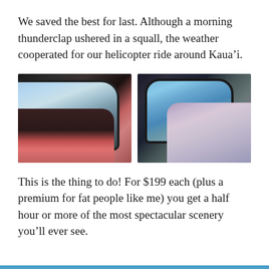We saved the best for last. Although a morning thunderclap ushered in a squall, the weather cooperated for our helicopter ride around Kaua’i.
[Figure (photo): Two side-by-side photos taken inside a helicopter. Left photo shows a passenger (woman with dark hair and glasses, wearing pink) looking out the helicopter window at scenic landscape below. Right photo shows another passenger looking out the window at coastal scenery.]
This is the thing to do! For $199 each (plus a premium for fat people like me) you get a half hour or more of the most spectacular scenery you’ll ever see.